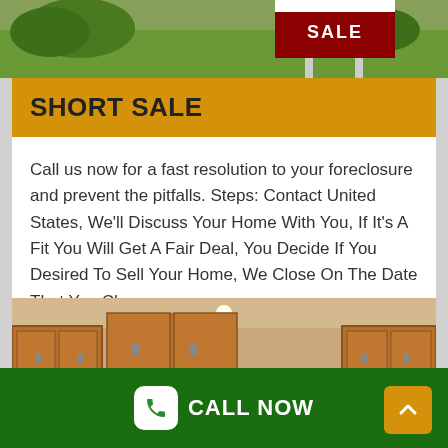[Figure (photo): Partial cropped image at top showing a green lawn with a red FOR SALE sign]
SHORT SALE
Call us now for a fast resolution to your foreclosure and prevent the pitfalls. Steps: Contact United States, We'll Discuss Your Home With You, If It's A Fit You Will Get A Fair Deal, You Decide If You Desired To Sell Your Home, We Close On The Date That You Choose.
[Figure (photo): Kitchen interior with wooden cabinets and stainless steel appliances]
CALL NOW